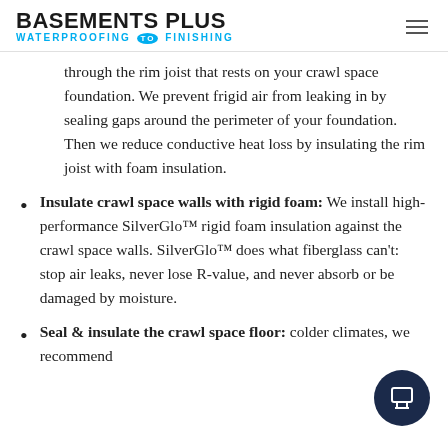BASEMENTS PLUS WATERPROOFING TO FINISHING
through the rim joist that rests on your crawl space foundation. We prevent frigid air from leaking in by sealing gaps around the perimeter of your foundation. Then we reduce conductive heat loss by insulating the rim joist with foam insulation.
Insulate crawl space walls with rigid foam: We install high-performance SilverGlo™ rigid foam insulation against the crawl space walls. SilverGlo™ does what fiberglass can't: stop air leaks, never lose R-value, and never absorb or be damaged by moisture.
Seal & insulate the crawl space floor: colder climates, we recommend